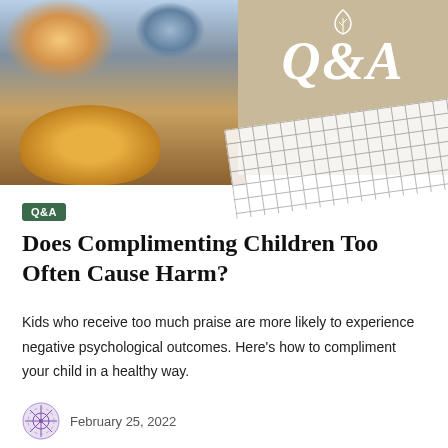[Figure (photo): Hero image split: left half shows a father and child decorating a pumpkin together, right half shows a beige/tan Q&A branded panel with large italic Q&A text and a leaf icon, with a white grid paper overlay at the bottom]
Q&A
Does Complimenting Children Too Often Cause Harm?
Kids who receive too much praise are more likely to experience negative psychological outcomes. Here's how to compliment your child in a healthy way.
February 25, 2022